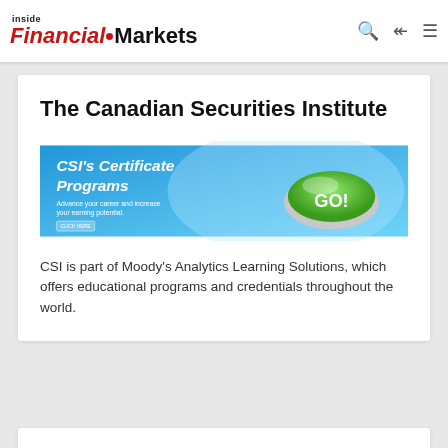inside Financial Markets
The Canadian Securities Institute
[Figure (illustration): CSI's Certificate Programs advertisement banner — blue background with text 'CSI's Certificate Programs, Advance your career and increase your earning potential.' and a green GO! button on the right side.]
CSI is part of Moody’s Analytics Learning Solutions, which offers educational programs and credentials throughout the world.